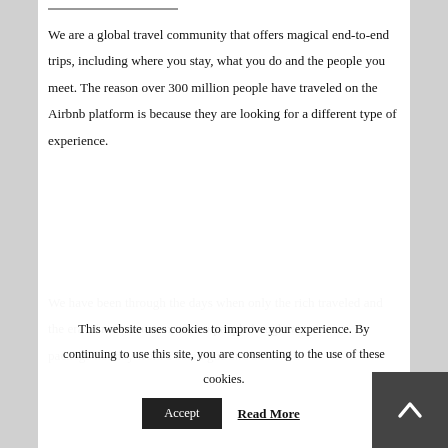We are a global travel community that offers magical end-to-end trips, including where you stay, what you do and the people you meet. The reason over 300 million people have traveled on the Airbnb platform is because they are looking for a different type of experience.
We have been through the days when only the rich traveled and the era of mass tourism, where people bought a [truncated]
This website uses cookies to improve your experience. By continuing to use this site, you are consenting to the use of these cookies.